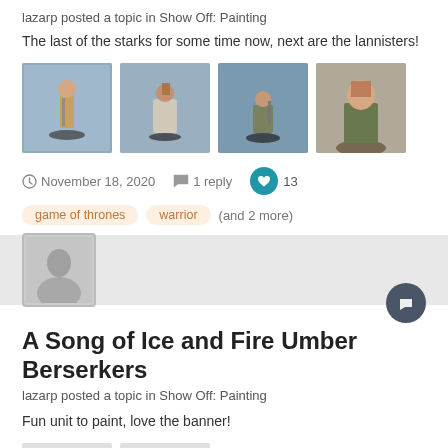lazarp posted a topic in Show Off: Painting
The last of the starks for some time now, next are the lannisters!
[Figure (photo): Four painted miniature figures from Game of Thrones on blue-grey backgrounds]
November 18, 2020  1 reply  13
game of thrones
warrior
(and 2 more)
A Song of Ice and Fire Umber Berserkers
lazarp posted a topic in Show Off: Painting
Fun unit to paint, love the banner!
[Figure (photo): Partial image thumbnails of painted miniatures, mostly obscured]